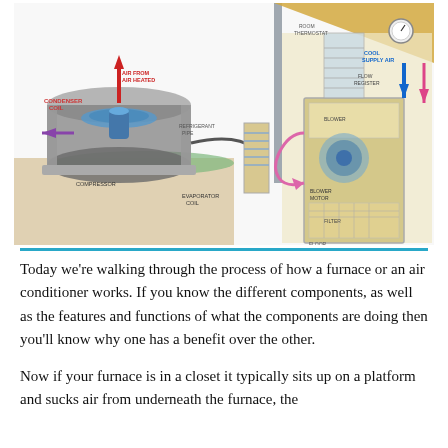[Figure (engineering-diagram): Technical cutaway illustration showing how a central air conditioning and furnace/HVAC system works. The left side shows an outdoor condenser unit with condenser coil, compressor, and fan with arrows showing warm air exhausted upward (red arrow) and cool refrigerant flowing (purple arrow). The right side shows a cross-section of a house with the indoor air handler/furnace unit in a closet, showing the evaporator coil, blower motor, filter, and ductwork. Blue arrows show cool supply air flowing into rooms and pink/purple arrows show warm return air. A pressure gauge is visible on the refrigerant line near the house wall.]
Today we're walking through the process of how a furnace or an air conditioner works. If you know the different components, as well as the features and functions of what the components are doing then you'll know why one has a benefit over the other.
Now if your furnace is in a closet it typically sits up on a platform and sucks air from underneath the furnace, the